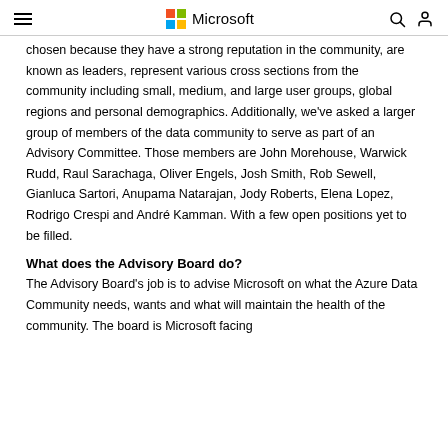Microsoft
chosen because they have a strong reputation in the community, are known as leaders, represent various cross sections from the community including small, medium, and large user groups, global regions and personal demographics.  Additionally, we've asked a larger group of members of the data community to serve as part of an Advisory Committee. Those members are John Morehouse, Warwick Rudd, Raul Sarachaga, Oliver Engels, Josh Smith, Rob Sewell, Gianluca Sartori, Anupama Natarajan, Jody Roberts, Elena Lopez, Rodrigo Crespi and André Kamman. With a few open positions yet to be filled.
What does the Advisory Board do?
The Advisory Board's job is to advise Microsoft on what the Azure Data Community needs, wants and what will maintain the health of the community.  The board is Microsoft facing